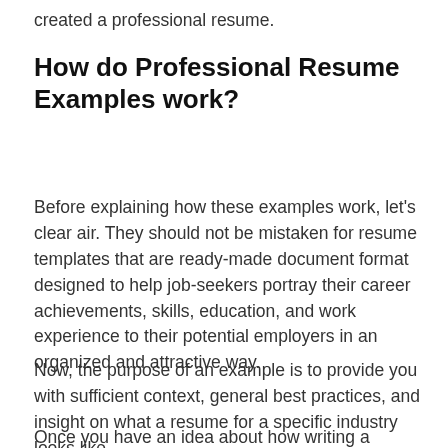created a professional resume.
How do Professional Resume Examples work?
Before explaining how these examples work, let's clear air. They should not be mistaken for resume templates that are ready-made document format designed to help job-seekers portray their career achievements, skills, education, and work experience to their potential employers in an organized and attractive way.
Now, the purpose of an example is to provide you with sufficient context, general best practices, and insight on what a resume for a specific industry looks like.
Once you have an idea about how writing a specific or